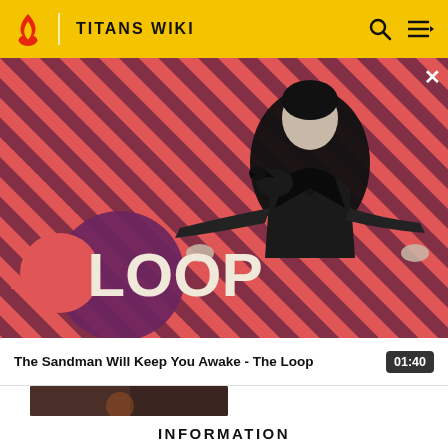TITANS WIKI
[Figure (screenshot): Banner image for 'The Sandman Will Keep You Awake - The Loop' featuring a dark figure in black coat with a raven on shoulder, against a red and dark diagonal striped background. 'THE LOOP' text displayed prominently in lower left with a purple circle design element. A close (X) button appears in the upper right corner.]
The Sandman Will Keep You Awake - The Loop  01:40
[Figure (screenshot): Dark thumbnail image snippet visible at bottom edge]
INFORMATION